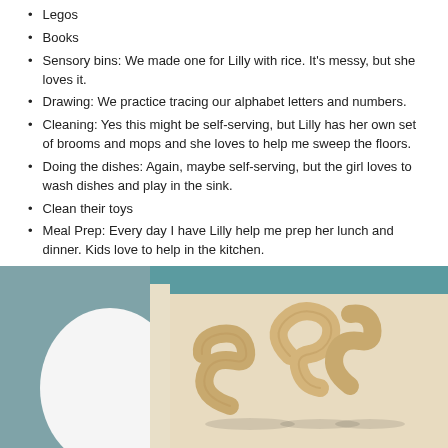Legos
Books
Sensory bins: We made one for Lilly with rice. It's messy, but she loves it.
Drawing: We practice tracing our alphabet letters and numbers.
Cleaning: Yes this might be self-serving, but Lilly has her own set of brooms and mops and she loves to help me sweep the floors.
Doing the dishes: Again, maybe self-serving, but the girl loves to wash dishes and play in the sink.
Clean their toys
Meal Prep: Every day I have Lilly help me prep her lunch and dinner. Kids love to help in the kitchen.
[Figure (photo): Photo showing wooden letter/number blocks on a white surface, with a muted teal background on the left side and a teal bar at top right.]